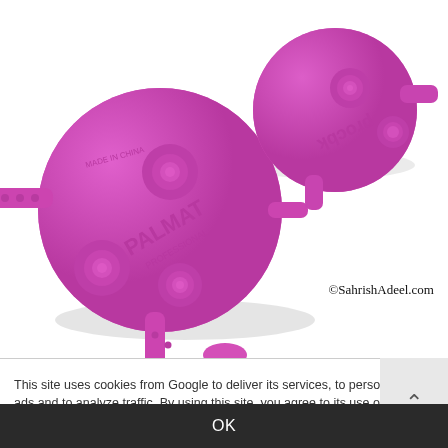[Figure (photo): Two pink/magenta silicone suction cup makeup brush cleaning mats (PALMAT brand) shown from the back, displaying suction cups and the text 'PALMAT' and 'procbk', 'MADE IN CHINA'. Watermark reads '©SahrishAdeel.com']
This site uses cookies from Google to deliver its services, to personalize ads and to analyze traffic. By using this site, you agree to its use of cookies. More
OK